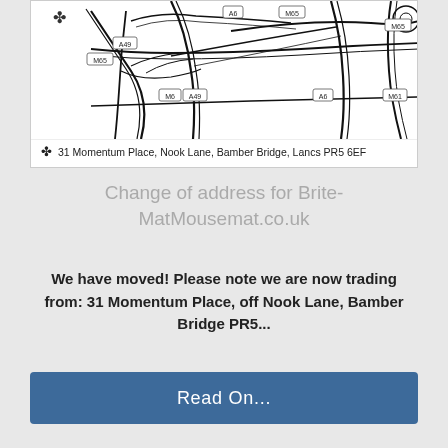[Figure (map): Road map showing motorway junctions near Bamber Bridge, Lancashire, with labels M65, M6, M61, A6, A49 and road intersection lines]
31 Momentum Place, Nook Lane, Bamber Bridge, Lancs PR5 6EF
Change of address for Brite-MatMousemat.co.uk
We have moved! Please note we are now trading from: 31 Momentum Place, off Nook Lane, Bamber Bridge PR5...
Read On...